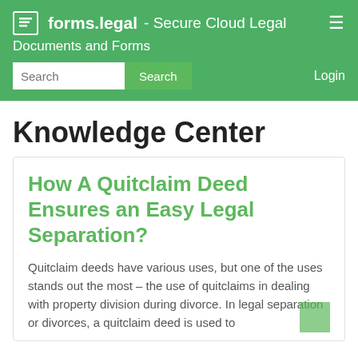forms.legal - Secure Cloud Legal Documents and Forms
Knowledge Center
How A Quitclaim Deed Ensures an Easy Legal Separation?
Quitclaim deeds have various uses, but one of the uses stands out the most – the use of quitclaims in dealing with property division during divorce. In legal separation or divorces, a quitclaim deed is used to